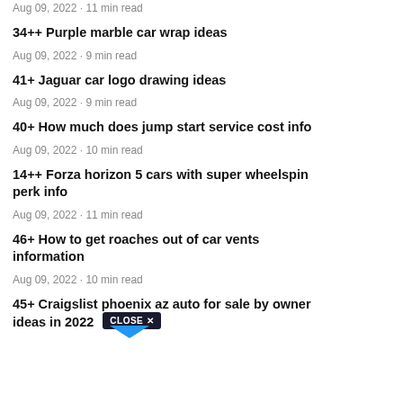Aug 09, 2022 · 11 min read
34++ Purple marble car wrap ideas
Aug 09, 2022 · 9 min read
41+ Jaguar car logo drawing ideas
Aug 09, 2022 · 9 min read
40+ How much does jump start service cost info
Aug 09, 2022 · 10 min read
14++ Forza horizon 5 cars with super wheelspin perk info
Aug 09, 2022 · 11 min read
46+ How to get roaches out of car vents information
Aug 09, 2022 · 10 min read
45+ Craigslist phoenix az auto for sale by owner ideas in 2022